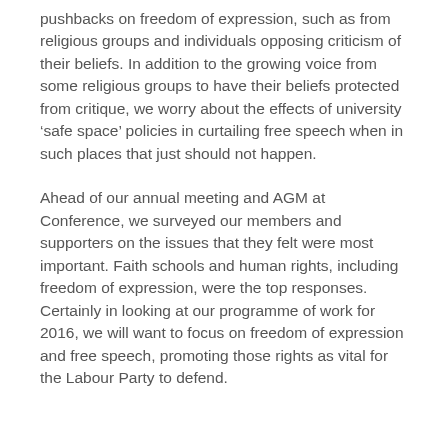pushbacks on freedom of expression, such as from religious groups and individuals opposing criticism of their beliefs. In addition to the growing voice from some religious groups to have their beliefs protected from critique, we worry about the effects of university ‘safe space’ policies in curtailing free speech when in such places that just should not happen.
Ahead of our annual meeting and AGM at Conference, we surveyed our members and supporters on the issues that they felt were most important. Faith schools and human rights, including freedom of expression, were the top responses. Certainly in looking at our programme of work for 2016, we will want to focus on freedom of expression and free speech, promoting those rights as vital for the Labour Party to defend.